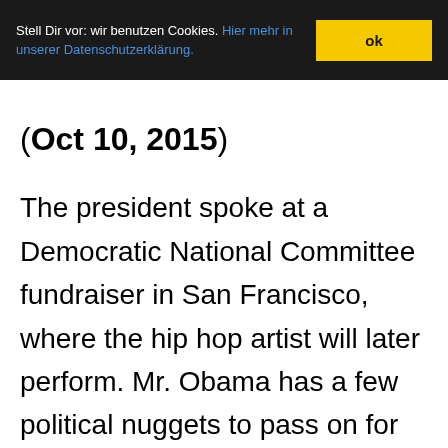Stell Dir vor: wir benutzen Cookies. Hier mehr in unserer Datenschutzerklärung. ok
(Oct 10, 2015)
The president spoke at a Democratic National Committee fundraiser in San Francisco, where the hip hop artist will later perform. Mr. Obama has a few political nuggets to pass on for West's 2020 bid for the